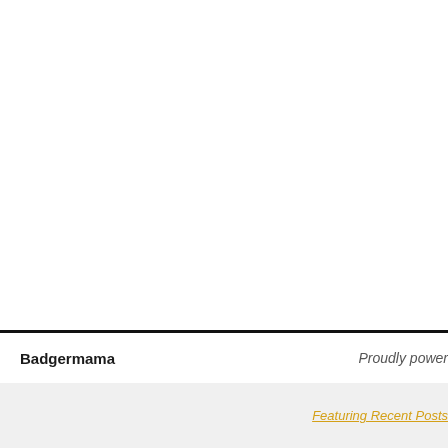Badgermama
Proudly power
Featuring Recent Posts